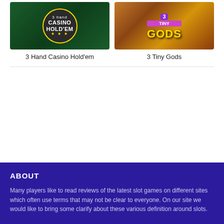[Figure (screenshot): 3 Hand Casino Hold'em game card image showing a dark green casino felt background with a circular badge containing the text '3 hand CASINO HOLD'EM' with gold border and stars]
[Figure (screenshot): 3 Tiny Gods game card image showing an Egyptian themed slot game with characters, pyramids, and the title '3 TINY GODS' in colorful lettering on a warm orange/brown background]
3 Hand Casino Hold'em
3 Tiny Gods
ABOUT
Many players like to read reviews of the latest slot games on different sites which often use terms that may not be clear to everyone. On our site we would like to bring some clarify about these various definition around slots.